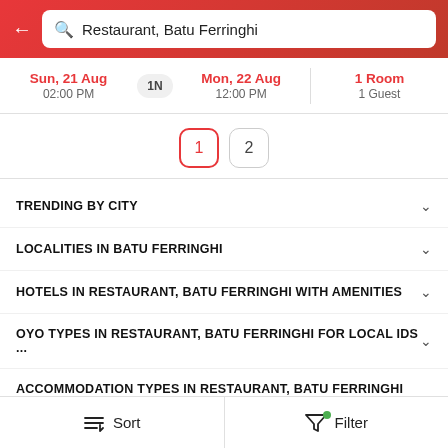[Figure (screenshot): Mobile app top search bar with back arrow and search field showing 'Restaurant, Batu Ferringhi' on red gradient background]
Sun, 21 Aug
02:00 PM
1N
Mon, 22 Aug
12:00 PM
1 Room
1 Guest
1  2
TRENDING BY CITY
LOCALITIES IN BATU FERRINGHI
HOTELS IN RESTAURANT, BATU FERRINGHI WITH AMENITIES
OYO TYPES IN RESTAURANT, BATU FERRINGHI FOR LOCAL IDS ...
ACCOMMODATION TYPES IN RESTAURANT, BATU FERRINGHI F...
2022 — 2023 © Oravel Stays Pvt Ltd.
All rights reserved
Sort  Filter